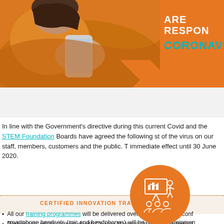[Figure (photo): Woman in orange sweater looking at smartphone, with banner text 'ARE RESPONDING TO CORONAVIRUS' on orange background]
In line with the Government's directive during this current Covid and the STEM Foundation Boards have agreed the following steps of the virus on our staff, members, customers and the public. These measures take immediate effect until 30 June 2020.
[Figure (illustration): Orange circle icon with presentation board and audience/training figures in white line art]
CERTIFIED INNOVATION TRAINING PROGRAMMES
All our training programmes will be delivered over our Zoom videoconferencing platform. Your smartphone headsets (mic and headphones) will be the only equipment needed.
Participants will be provided with Course Materials in electronic format.